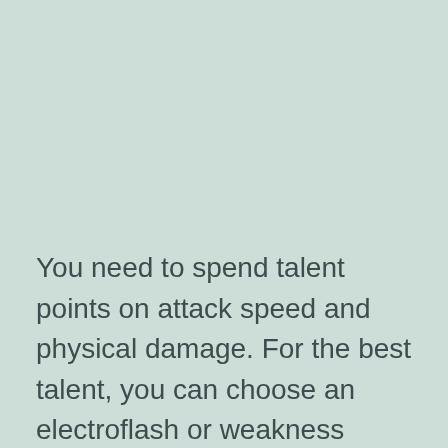You need to spend talent points on attack speed and physical damage. For the best talent, you can choose an electroflash or weakness finder for Melissa.